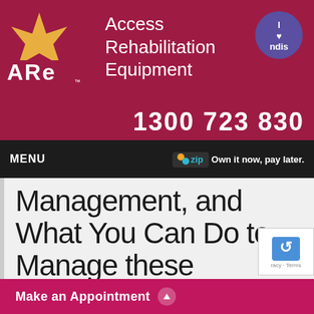[Figure (logo): Access Rehabilitation Equipment (ARE) logo with star figure and text, NDIS badge top right, phone number 1300 723 830]
MENU   zip  Own it now, pay later.
Management, and What You Can Do to Manage these
Living with pain can be a distressing and debilitating thing. Learn about the options y... managing this pain.
Make an Appointment